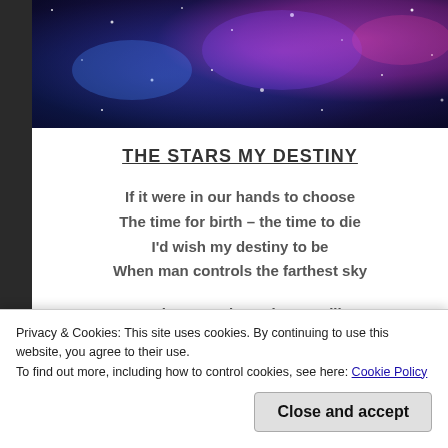[Figure (photo): A galaxy/nebula space image with blue, purple, and pink cosmic clouds and stars, cropped horizontally at the top of the page.]
THE STARS MY DESTINY
If it were in our hands to choose
The time for birth – the time to die
I'd wish my destiny to be
When man controls the farthest sky
Someday, somehow I know, will go
Beyond the bounds of time and place
A restless few who cannot stop
Until the very end of space.
Privacy & Cookies: This site uses cookies. By continuing to use this website, you agree to their use.
To find out more, including how to control cookies, see here: Cookie Policy